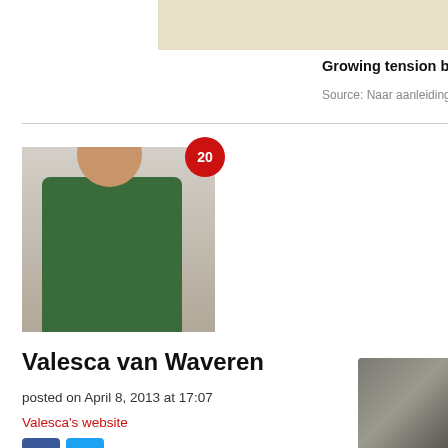[Figure (photo): Partial beige/tan image in top right corner, cropped]
Growing tension betw
Source: Naar aanleiding v
[Figure (photo): Profile photo of Valesca van Waveren, a woman in a dark green cardigan with a flower in her hair, with a red badge showing the number 20]
Valesca van Waveren
posted on April 8, 2013 at 17:07
Valesca's website
[Figure (other): Facebook and Twitter social share buttons]
[Figure (photo): Partial photo in bottom right corner, appears to be an animal]